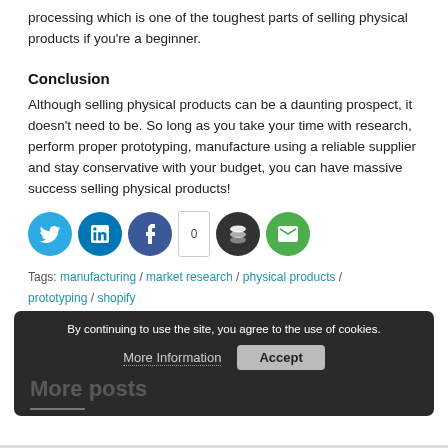processing which is one of the toughest parts of selling physical products if you're a beginner.
Conclusion
Although selling physical products can be a daunting prospect, it doesn't need to be. So long as you take your time with research, perform proper prototyping, manufacture using a reliable supplier and stay conservative with your budget, you can have massive success selling physical products!
[Figure (infographic): Social sharing icons: Twitter (blue circle), LinkedIn (blue circle), Facebook (dark blue circle), share count badge showing 0, Buffer (dark circle with layers icon), Email (green circle with envelope icon)]
Tags: manufacturing / market research / physical products / prototyping / shopify
By continuing to use the site, you agree to the use of cookies. More Information  Accept
More posts